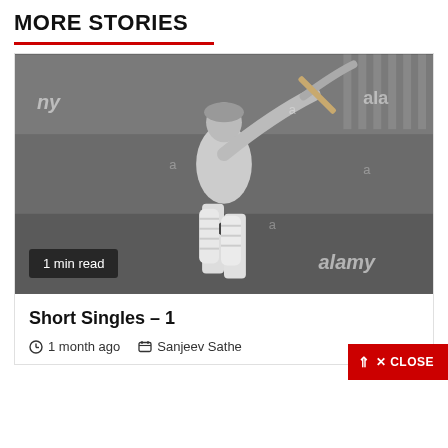MORE STORIES
[Figure (photo): Black and white photograph of a cricket batsman in batting stance, mid-swing, wearing pads and whites. Alamy watermark visible in bottom-right corner.]
1 min read
Short Singles – 1
1 month ago   Sanjeev Sathe